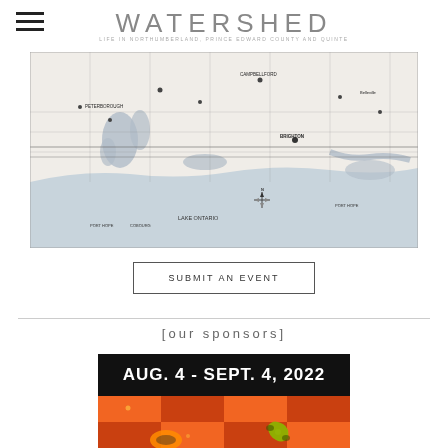WATERSHED
LIFE IN NORTHUMBERLAND, PRINCE EDWARD COUNTY AND QUINTE
[Figure (map): Black and white map of the Lake Ontario region including Peterborough, Campbellford, and surrounding areas in southern Ontario, Canada]
SUBMIT AN EVENT
[our sponsors]
[Figure (infographic): Sponsor banner with black background showing 'AUG. 4 - SEPT. 4, 2022' in white bold text, with orange and red checkered pattern below]